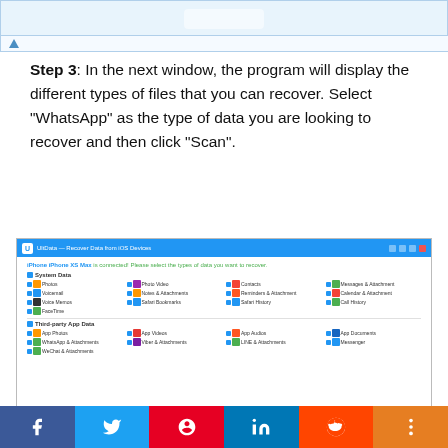[Figure (screenshot): Top portion of a software application screenshot showing a home icon navigation bar at the bottom, blue border frame]
Step 3: In the next window, the program will display the different types of files that you can recover. Select “WhatsApp” as the type of data you are looking to recover and then click “Scan”.
[Figure (screenshot): UltData - Recover Data from iOS Devices application window showing iPhone iPhone XS Max connected screen with System Data and Third-party App Data sections listing options including Photos, Photo Video, Contacts, Messages & Attachment, Voicemail, Notes & Attachments, Reminders & Attachment, Calendar & Attachment, Voice Memos, Safari Bookmarks, Safari History, Call History, FaceTime, and App Photos, App Videos, App Audio, App Documents, WhatsApp & Attachments, Viber & Attachments, LINE & Attachments, Messenger, WeChat & Attachments]
[Figure (infographic): Social media sharing bar with Facebook, Twitter, Pinterest, LinkedIn, Reddit, and More buttons]